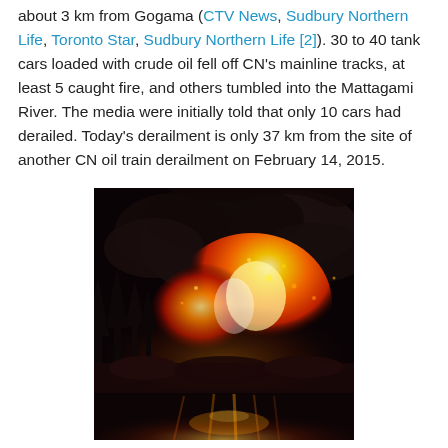about 3 km from Gogama (CTV News, Sudbury Northern Life, Toronto Star, Sudbury Northern Life [2]). 30 to 40 tank cars loaded with crude oil fell off CN's mainline tracks, at least 5 caught fire, and others tumbled into the Mattagami River. The media were initially told that only 10 cars had derailed. Today's derailment is only 37 km from the site of another CN oil train derailment on February 14, 2015.
[Figure (photo): Nighttime photograph of a large fire and dark smoke billowing from a train derailment near a river, with trees silhouetted on the left and flames and glowing embers reflected on the water below.]